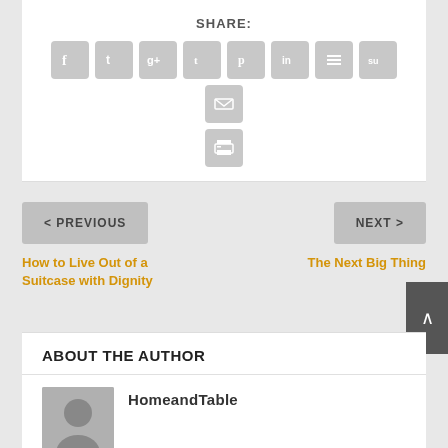SHARE:
[Figure (infographic): Row of social sharing icon buttons: Facebook, Twitter, Google+, Tumblr, Pinterest, LinkedIn, Buffer, StumbleUpon, Email, and Print]
< PREVIOUS
NEXT >
How to Live Out of a Suitcase with Dignity
The Next Big Thing
ABOUT THE AUTHOR
HomeandTable